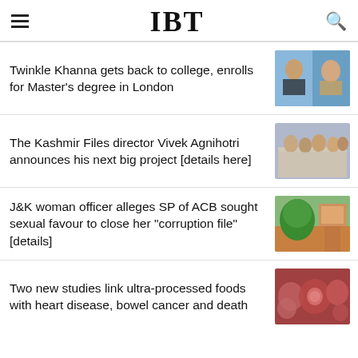IBT
Twinkle Khanna gets back to college, enrolls for Master's degree in London
The Kashmir Files director Vivek Agnihotri announces his next big project [details here]
J&K woman officer alleges SP of ACB sought sexual favour to close her "corruption file" [details]
Two new studies link ultra-processed foods with heart disease, bowel cancer and death